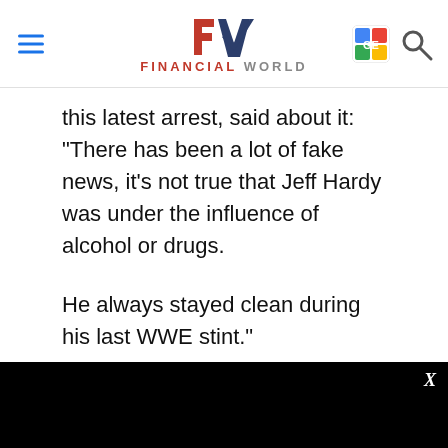FINANCIAL WORLD
this latest arrest, said about it: "There has been a lot of fake news, it's not true that Jeff Hardy was under the influence of alcohol or drugs.

He always stayed clean during his last WWE stint."
[Figure (other): Black video player area with X close button]